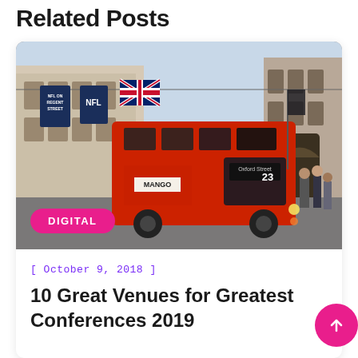Related Posts
[Figure (photo): A red double-decker London bus (route 23) on Regent Street with Union Jack flags and NFL banners hanging overhead, pedestrians on the pavement, and Georgian buildings in the background. A pink 'DIGITAL' badge overlaid in the lower left of the image.]
[ October 9, 2018 ]
10 Great Venues for Greatest Conferences 2019